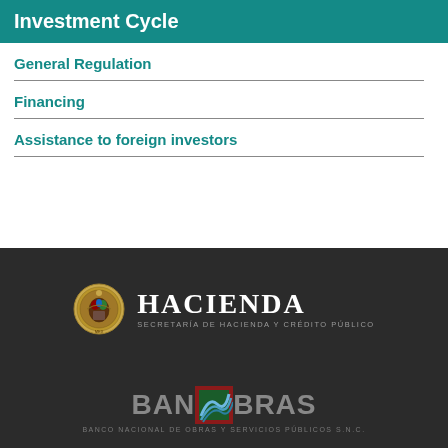Investment Cycle
General Regulation
Financing
Assistance to foreign investors
[Figure (logo): HACIENDA - Secretaría de Hacienda y Crédito Público logo with Mexican government seal, on dark background]
[Figure (logo): BANOBRAS - Banco Nacional de Obras y Servicios Públicos S.N.C. logo on dark background]